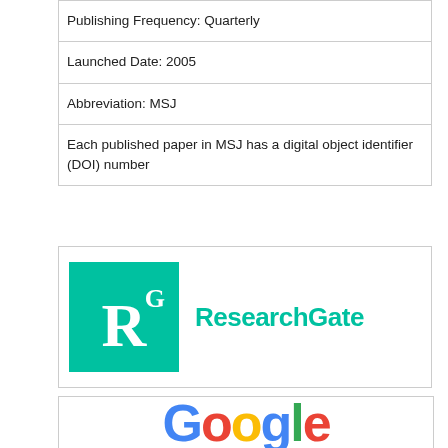| Publishing Frequency: Quarterly |
| Launched Date: 2005 |
| Abbreviation: MSJ |
| Each published paper in MSJ has a digital object identifier (DOI) number |
[Figure (logo): ResearchGate logo: teal square with white R and superscript G, followed by 'ResearchGate' in teal text]
[Figure (logo): Google logo partially visible: colorful lettering spelling 'Google' in blue, red, yellow, green colors]